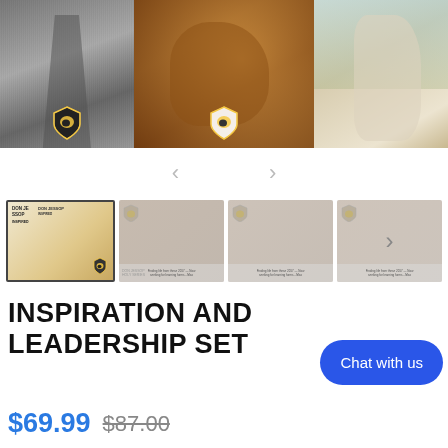[Figure (photo): Three images side by side: left shows a person in white shirt in black and white with a shield logo overlay, center shows a brown horse with a person in blue shirt and shield logo, right shows a white horse being led by a person]
[Figure (photo): Navigation arrows (left and right) for image carousel]
[Figure (photo): Four thumbnail images of Don Jessop books and product materials, with a right arrow on the last thumbnail]
INSPIRATION AND LEADERSHIP SET
$69.99 $87.00